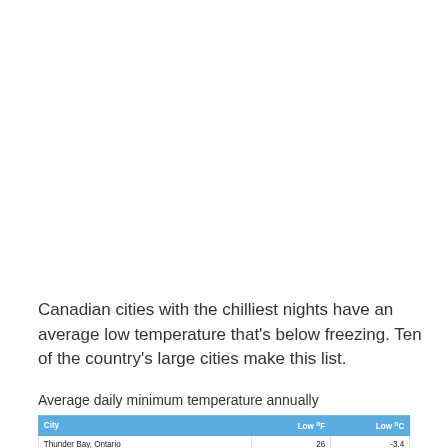Canadian cities with the chilliest nights have an average low temperature that's below freezing. Ten of the country's large cities make this list.
Average daily minimum temperature annually
| City | Low °F | Low °C |
| --- | --- | --- |
| Thunder Bay, Ontario | 26 | -3.4 |